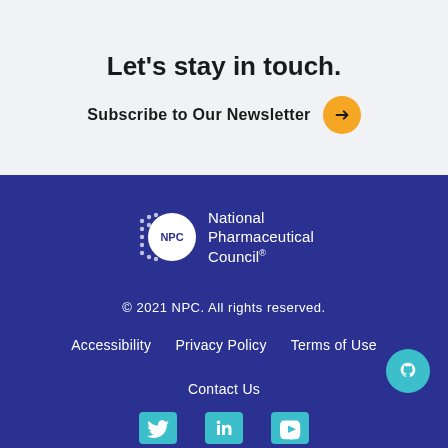Let's stay in touch.
Subscribe to Our Newsletter →
[Figure (logo): National Pharmaceutical Council (NPC) logo — white circle with NPC text and dot-grid pattern, with 'National Pharmaceutical Council®' text beside it]
© 2021 NPC. All rights reserved.
Accessibility   Privacy Policy   Terms of Use
Contact Us